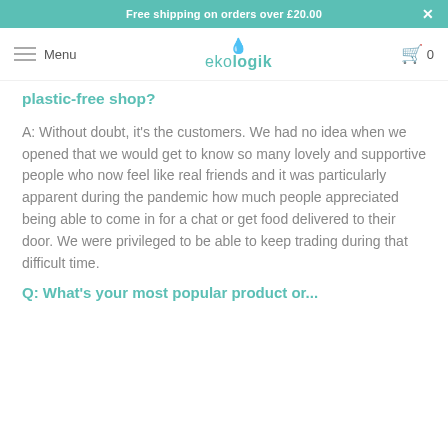Free shipping on orders over £20.00
Menu  ekologik  0
plastic-free shop?
A: Without doubt, it's the customers. We had no idea when we opened that we would get to know so many lovely and supportive people who now feel like real friends and it was particularly apparent during the pandemic how much people appreciated being able to come in for a chat or get food delivered to their door. We were privileged to be able to keep trading during that difficult time.
Q: What's your most popular product or...